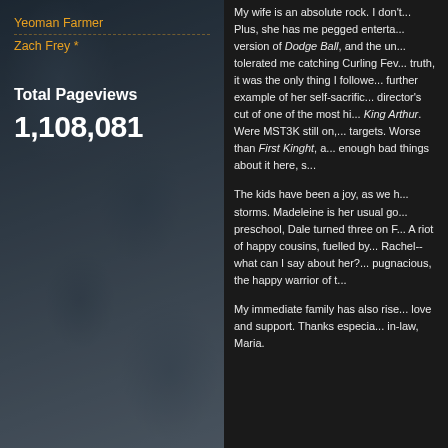Yeoman Farmer
Zach Frey *
Total Pageviews
1,108,081
My wife is an absolute rock. I don't... Plus, she has me pegged enterta... version of Dodge Ball, and the un... tolerated me catching Curling Fev... truth, it was the only thing I followe... further example of her self-sacrific... director's cut of one of the most hi... King Arthur. Were MST3K still on,... targets. Worse than First Kinght, a... enough bad things about it here, s...
The kids have been a joy, as we h... storms. Madeleine is her usual go... preschool, Dale turned three on F... A riot of happy cousins, fuelled by... Rachel--what can I say about her?... pugnacious, the happy warrior of t...
My immediate family has also rise... love and support. Thanks especia... in-law, Maria.